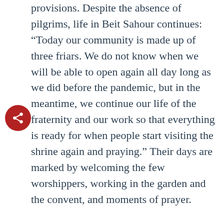provisions. Despite the absence of pilgrims, life in Beit Sahour continues: “Today our community is made up of three friars. We do not know when we will be able to open again all day long as we did before the pandemic, but in the meantime, we continue our life of the fraternity and our work so that everything is ready for when people start visiting the shrine again and praying.” Their days are marked by welcoming the few worshippers, working in the garden and the convent, and moments of prayer.

“The hope that everyone has placed in the vaccine is a real hope that we can return to a normal life,” says the guardian of the Franciscan convent of Beit Sahour.